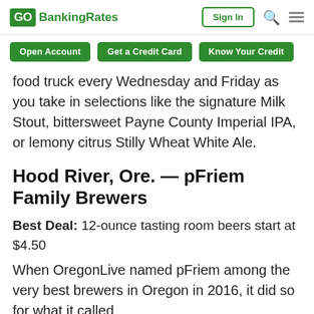GOBankingRates | Sign In
Open Account | Get a Credit Card | Know Your Credit
food truck every Wednesday and Friday as you take in selections like the signature Milk Stout, bittersweet Payne County Imperial IPA, or lemony citrus Stilly Wheat White Ale.
Hood River, Ore. — pFriem Family Brewers
Best Deal: 12-ounce tasting room beers start at $4.50
When OregonLive named pFriem among the very best brewers in Oregon in 2016, it did so for what it called